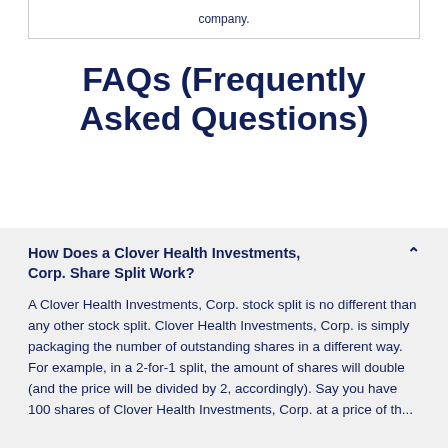company.
FAQs (Frequently Asked Questions)
How Does a Clover Health Investments, Corp. Share Split Work?
A Clover Health Investments, Corp. stock split is no different than any other stock split. Clover Health Investments, Corp. is simply packaging the number of outstanding shares in a different way. For example, in a 2-for-1 split, the amount of shares will double (and the price will be divided by 2, accordingly). Say you have 100 shares of Clover Health Investments, Corp. at a price of $...